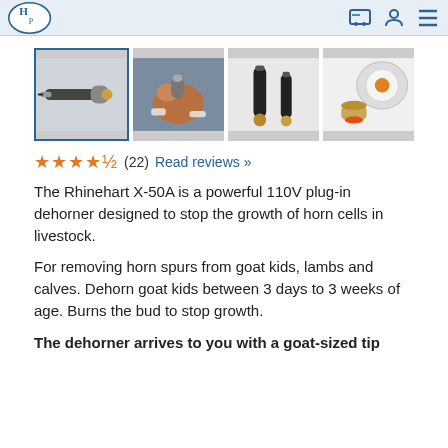Navigation header with logo and icons
[Figure (photo): Four product thumbnail images of the Rhinehart X-50A dehorner device: first shows the tool itself (selected/highlighted), second shows it being used on a goat kid, third shows two sizes of the device, fourth shows close-up of tips.]
★★★★½ (22) Read reviews »
The Rhinehart X-50A is a powerful 110V plug-in dehorner designed to stop the growth of horn cells in livestock.
For removing horn spurs from goat kids, lambs and calves. Dehorn goat kids between 3 days to 3 weeks of age. Burns the bud to stop growth.
The dehorner arrives to you with a goat-sized tip